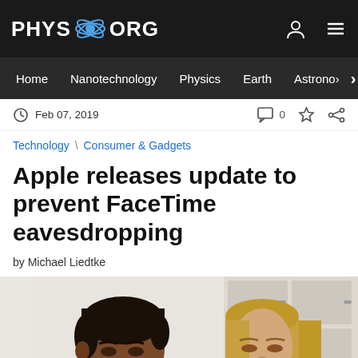PHYS.ORG
Home | Nanotechnology | Physics | Earth | Astronomy
Feb 07, 2019
Technology \ Consumer & Gadgets
Apple releases update to prevent FaceTime eavesdropping
by Michael Liedtke
[Figure (photo): Two people, a teenage boy and a woman, looking down at a device in a kitchen setting]